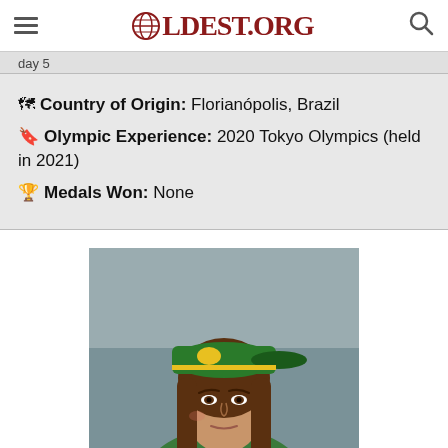OLDEST.ORG
Country of Origin: Florianópolis, Brazil
Olympic Experience: 2020 Tokyo Olympics (held in 2021)
Medals Won: None
[Figure (photo): Young female athlete wearing a green backwards snapback cap with yellow stripe and emblem, long brown hair, serious expression, blurred indoor background]